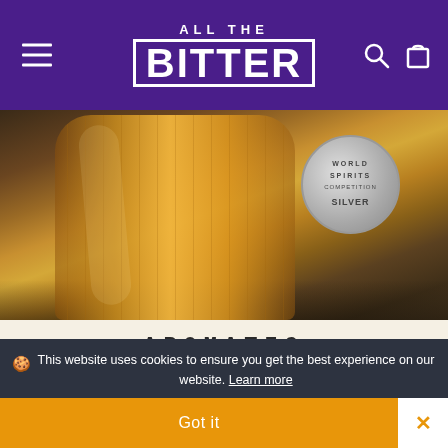ALL THE BITTER
[Figure (photo): Product photo showing a ribbed glass bottle filled with amber/golden liquid bitters, with a silver World Spirits Competition medal partially visible on the right side, set against a dark stone surface.]
AROMATIC
Our take on aromatic bitters, the classic choice for an Old Fashioned or Manhattan. Packed with cinnamon, clove, and nutmeg—absolutely essential for any mindful bar.
SHOP AROMATIC
🍪 This website uses cookies to ensure you get the best experience on our website. Learn more
Got it